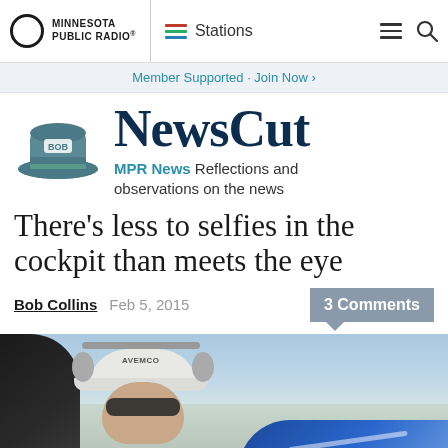MINNESOTA PUBLIC RADIO® | Stations
Member Supported · Join Now ›
[Figure (logo): NewsCut blog logo with hat graphic]
There's less to selfies in the cockpit than meets the eye
Bob Collins  Feb 5, 2015  3 Comments
[Figure (photo): Cockpit selfie photo of pilot wearing headphones, sunglasses and cap labeled AVEMCO, in glider cockpit with blue sky and wing visible]